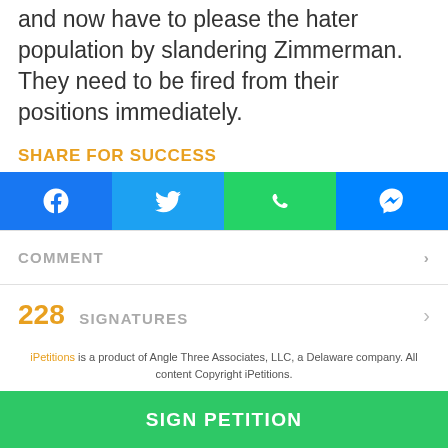and now have to please the hater population by slandering Zimmerman. They need to be fired from their positions immediately.
SHARE FOR SUCCESS
[Figure (infographic): Social share buttons row: Facebook (blue), Twitter (light blue), WhatsApp (green), Messenger (blue)]
COMMENT
228 SIGNATURES
iPetitions is a product of Angle Three Associates, LLC, a Delaware company. All content Copyright iPetitions.
Contact Us   Privacy   Terms of Use
SIGN PETITION